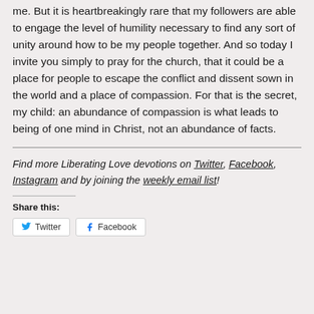me. But it is heartbreakingly rare that my followers are able to engage the level of humility necessary to find any sort of unity around how to be my people together. And so today I invite you simply to pray for the church, that it could be a place for people to escape the conflict and dissent sown in the world and a place of compassion. For that is the secret, my child: an abundance of compassion is what leads to being of one mind in Christ, not an abundance of facts.
Find more Liberating Love devotions on Twitter, Facebook, Instagram and by joining the weekly email list!
Share this:
Twitter   Facebook